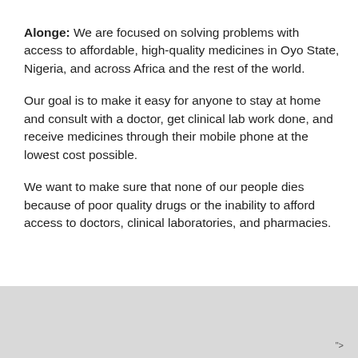Alonge: We are focused on solving problems with access to affordable, high-quality medicines in Oyo State, Nigeria, and across Africa and the rest of the world.
Our goal is to make it easy for anyone to stay at home and consult with a doctor, get clinical lab work done, and receive medicines through their mobile phone at the lowest cost possible.
We want to make sure that none of our people dies because of poor quality drugs or the inability to afford access to doctors, clinical laboratories, and pharmacies.
">